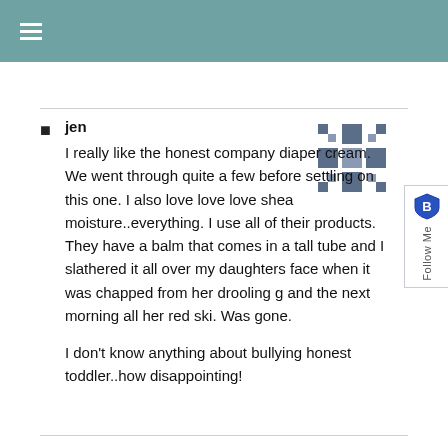≡ (navigation menu icon)
jen
I really like the honest company diaper cream. We went through quite a few before settling on this one. I also love love love shea moisture..everything. I use all of their products. They have a balm that comes in a tall tube and I slathered it all over my daughters face when it was chapped from her drooling g and the next morning all her red ski. Was gone.

I don't know anything about bullying honest toddler..how disappointing!